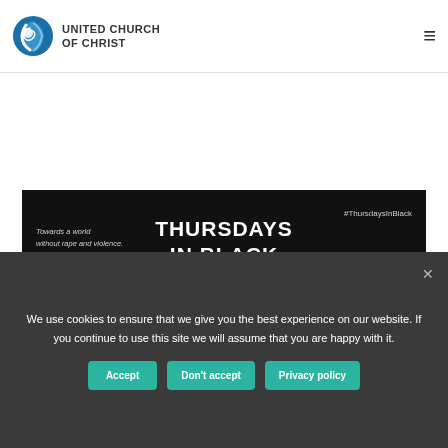United Church of Christ
[Figure (illustration): Thursdays in Black banner — black background with text 'Towards a world without rape and violence' on the left, 'THURSDAYS IN BLACK' in large bold white text in the center, '#ThursdaysInBlack' on the right, and decorative white and purple swoosh lines at the bottom.]
We use cookies to ensure that we give you the best experience on our website. If you continue to use this site we will assume that you are happy with it.
Accept
Don't accept
Privacy policy